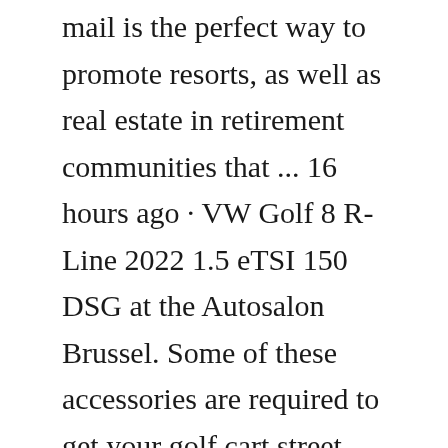mail is the perfect way to promote resorts, as well as real estate in retirement communities that ... 16 hours ago · VW Golf 8 R-Line 2022 1.5 eTSI 150 DSG at the Autosalon Brussel. Some of these accessories are required to get your golf cart street legal. Others will just turn heads when you drive by. Regardless, below are 13 golf cart accessories that we know golf cart owners will love. The Best Golf Cart Accessories. 1. Side Mirrors. Custom Golf